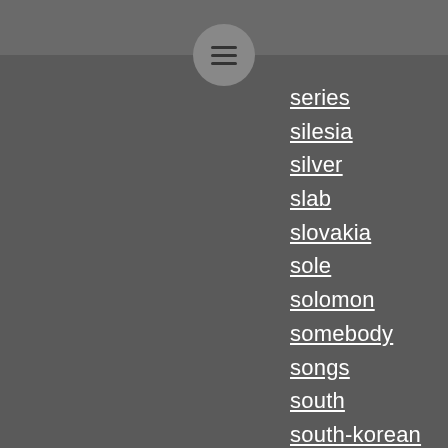series
silesia
silver
slab
slovakia
sole
solomon
somebody
songs
south
south-korean
sp70
spain
spiderman
spoilers